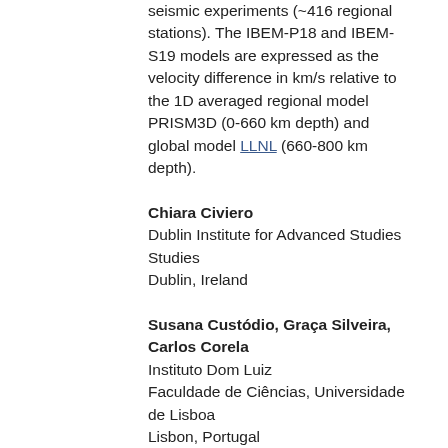seismic experiments (~416 regional stations). The IBEM-P18 and IBEM-S19 models are expressed as the velocity difference in km/s relative to the 1D averaged regional model PRISM3D (0-660 km depth) and global model LLNL (660-800 km depth).
Chiara Civiero
Dublin Institute for Advanced Studies
Dublin, Ireland
Susana Custódio, Graça Silveira, Carlos Corela
Instituto Dom Luiz
Faculdade de Ciências, Universidade de Lisboa
Lisbon, Portugal